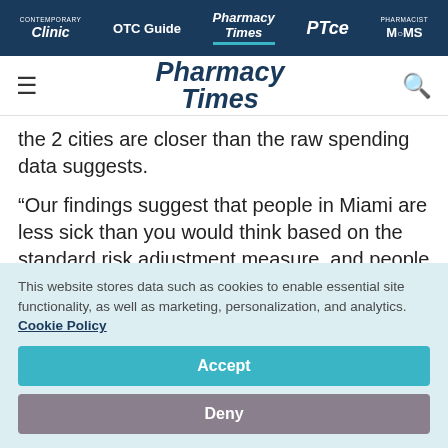Clinic | OTC Guide | Pharmacy Times | PTce | Pharmacist MOMS
Pharmacy Times [logo with hamburger menu and search icon]
the 2 cities are closer than the raw spending data suggests.
“Our findings suggest that people in Miami are less sick than you would think based on the standard risk adjustment measure, and people in
This website stores data such as cookies to enable essential site functionality, as well as marketing, personalization, and analytics. Cookie Policy
Accept
Deny